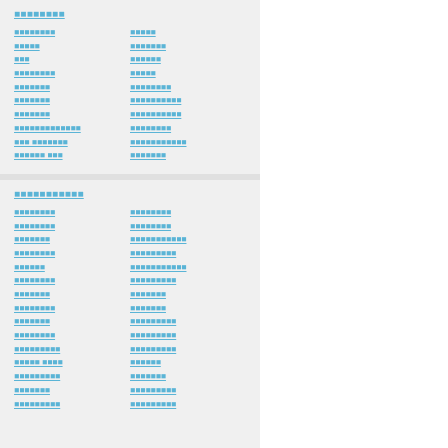■■■■■■■■
■■■■■■■■ | ■■■■■
■■■■■ | ■■■■■■■
■■■ | ■■■■■■
■■■■■■■■ | ■■■■■
■■■■■■■ | ■■■■■■■■
■■■■■■■ | ■■■■■■■■■■
■■■■■■■ | ■■■■■■■■■■
■■■■■■■■■■■■■ | ■■■■■■■■
■■■ ■■■■■■■ | ■■■■■■■■■■■
■■■■■■ ■■■ | ■■■■■■■
■■■■■■■■■■■
■■■■■■■■ | ■■■■■■■■
■■■■■■■■ | ■■■■■■■■
■■■■■■■ | ■■■■■■■■■■■
■■■■■■■■ | ■■■■■■■■■
■■■■■■ | ■■■■■■■■■■■
■■■■■■■■ | ■■■■■■■■■
■■■■■■■ | ■■■■■■■
■■■■■■■■ | ■■■■■■■
■■■■■■■ | ■■■■■■■■■
■■■■■■■■ | ■■■■■■■■■
■■■■■■■■■ | ■■■■■■■■■
■■■■■ ■■■■ | ■■■■■■
■■■■■■■■■ | ■■■■■■■
■■■■■■■ | ■■■■■■■■■
■■■■■■■■■ | ■■■■■■■■■